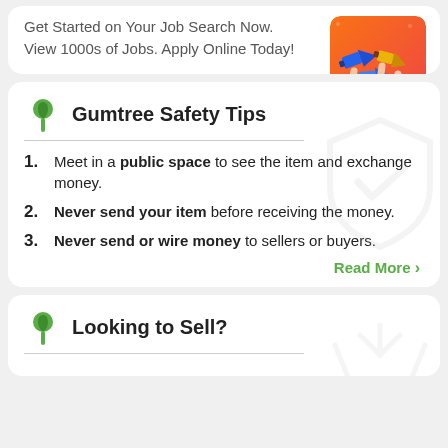Get Started on Your Job Search Now. View 1000s of Jobs. Apply Online Today!
[Figure (illustration): Orange gradient square with cartoon megaphones/hands illustration]
Gumtree Safety Tips
Meet in a public space to see the item and exchange money.
Never send your item before receiving the money.
Never send or wire money to sellers or buyers.
Read More >
Looking to Sell?